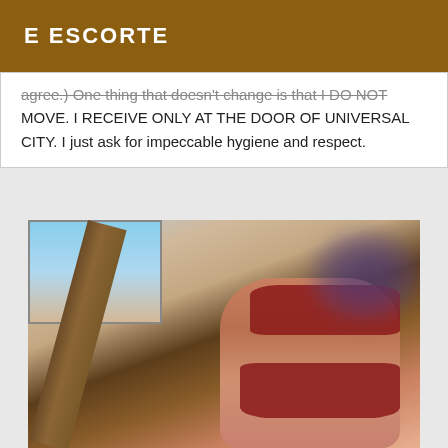E ESCORTE
agree.) One thing that doesn't change is that I DO NOT MOVE. I RECEIVE ONLY AT THE DOOR OF UNIVERSAL CITY. I just ask for impeccable hygiene and respect.
[Figure (photo): A blurred photo of a person in red outfit standing near a window and wooden beam]